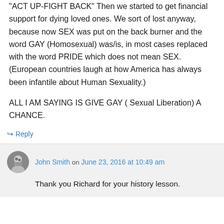ACT UP-FIGHT BACK  Then we started to get financial support for dying loved ones. We sort of lost anyway, because now SEX was put on the back burner and the word GAY (Homosexual) was/is, in most cases replaced with the word PRIDE which does not mean SEX. (European countries laugh at how America has always been infantile about Human Sexuality.)

ALL I AM SAYING IS GIVE GAY ( Sexual Liberation) A CHANCE.
↳ Reply
John Smith on June 23, 2016 at 10:49 am
Thank you Richard for your history lesson.